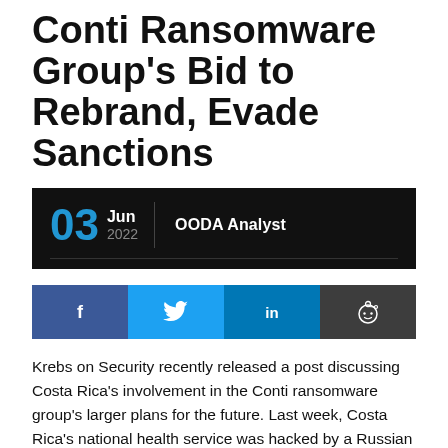Conti Ransomware Group's Bid to Rebrand, Evade Sanctions
03 Jun 2022  OODA Analyst
[Figure (infographic): Social share buttons: Facebook, Twitter, LinkedIn, Reddit]
Krebs on Security recently released a post discussing Costa Rica's involvement in the Conti ransomware group's larger plans for the future. Last week, Costa Rica's national health service was hacked by a Russian ransomware group referred to as Hive, just weeks after the country entered a state of